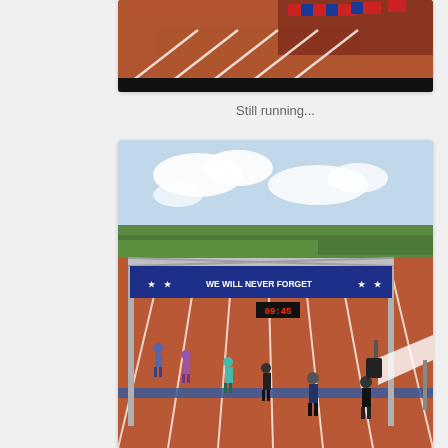[Figure (photo): Top portion of a photo showing a red running track with diagonal white lane lines and colorful seats/bleachers (red and blue) in the upper right, partially cropped]
Still running...
[Figure (photo): Photo of runners finishing on a red running track under a metal truss arch banner reading 'WE WILL NEVER FORGET' in white text on a dark blue background with stars. Multiple runners of various ages visible on the track lanes. Green soccer field visible in background, cloudy sky above.]